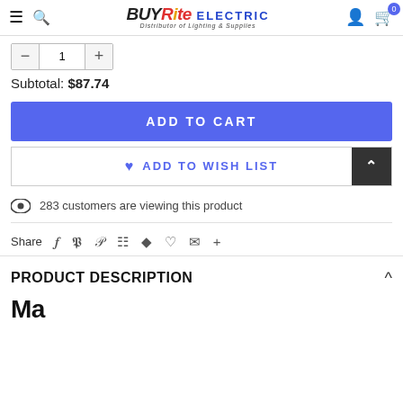BUYRite ELECTRIC — Distributor of Lighting & Supplies
Subtotal: $87.74
ADD TO CART
♥ ADD TO WISH LIST
283 customers are viewing this product
Share
PRODUCT DESCRIPTION
Ma...